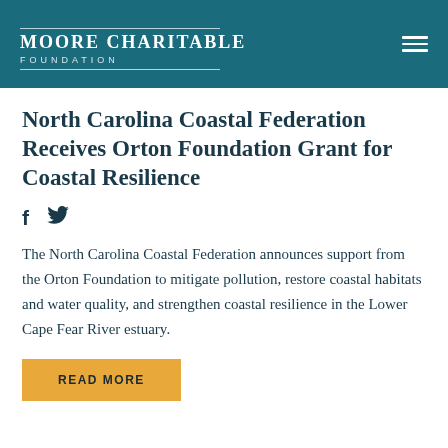Moore Charitable Foundation
North Carolina Coastal Federation Receives Orton Foundation Grant for Coastal Resilience
The North Carolina Coastal Federation announces support from the Orton Foundation to mitigate pollution, restore coastal habitats and water quality, and strengthen coastal resilience in the Lower Cape Fear River estuary.
READ MORE